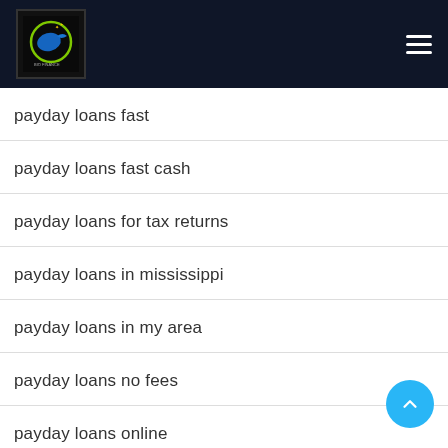[Figure (logo): Website logo: circular emblem with blue bird/fish silhouette and green ring on dark background]
payday loans fast
payday loans fast cash
payday loans for tax returns
payday loans in mississippi
payday loans in my area
payday loans no fees
payday loans online